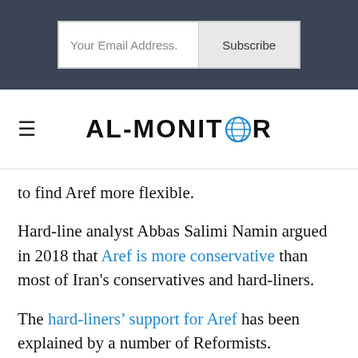[Figure (screenshot): Email subscription bar with 'Your Email Address.' input field and 'Subscribe' button on dark background]
[Figure (logo): AL-MONITOR logo with globe icon replacing the O, in bold black sans-serif font]
to find Aref more flexible.
Hard-line analyst Abbas Salimi Namin argued in 2018 that Aref is more conservative than most of Iran's conservatives and hard-liners.
The hard-liners' support for Aref has been explained by a number of Reformists. “Reformists haven't seen anything from Mr. Aref so far. There has been so much investment in him, but he hasn’t said five words in favor of Reformism,” said former Reformist parliamentarian Naser Qavami in 2016.